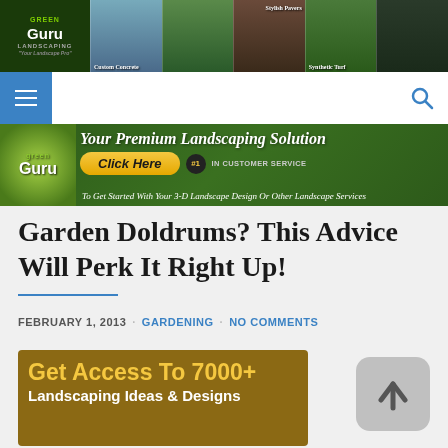[Figure (screenshot): Green Guru Landscaping website header with logo and landscaping photo collage showing Custom Concrete, Stylish Pavers, and Synthetic Turf sections]
[Figure (screenshot): Website navigation bar with hamburger menu button and search icon]
[Figure (screenshot): Green Guru Landscaping banner ad: Your Premium Landscaping Solution, Click Here, #1 in Customer Service, To Get Started With Your 3-D Landscape Design Or Other Landscape Services]
Garden Doldrums? This Advice Will Perk It Right Up!
FEBRUARY 1, 2013 · GARDENING · NO COMMENTS
[Figure (screenshot): Promotional image: Get Access To 7000+ Landscaping Ideas & Designs on brown background with yellow and white text]
[Figure (screenshot): Scroll-to-top button with upward arrow on gray rounded square background]